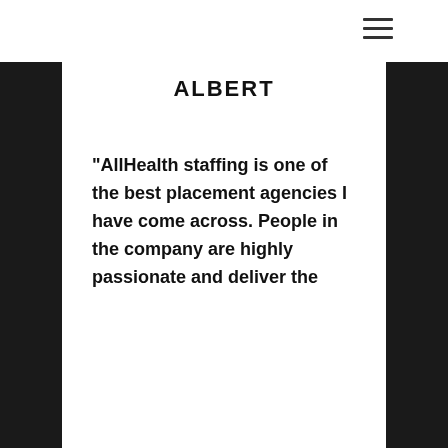[Figure (logo): AllHealth Staffing Group logo — ASG letters in teal/blue above 'ALLHEALTH STAFFING GROUP' text]
ALBERT
“AllHealth staffing is one of the best placement agencies I have come across. People in the company are highly passionate and deliver the